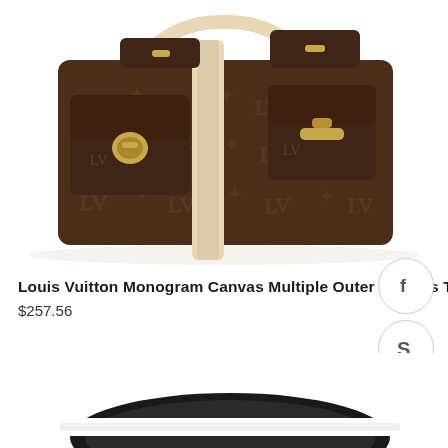[Figure (photo): Louis Vuitton monogram canvas tote bag with multiple outer pockets and gold-tone hardware, shown against white background]
Louis Vuitton Monogram Canvas Multiple Outer pockets Tote Bag Roc
$257.56
[Figure (photo): Second product image showing a black and white strap/bag at the bottom of the page]